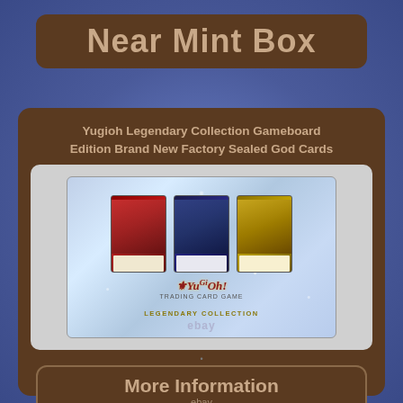Near Mint Box
[Figure (photo): Yu-Gi-Oh Legendary Collection Gameboard Edition factory sealed box with three God Card thumbnails visible and sparkle holographic border, with eBay watermark]
Yugioh Legendary Collection Gameboard Edition Brand New Factory Sealed God Cards
[Figure (other): More Information button with eBay text below]